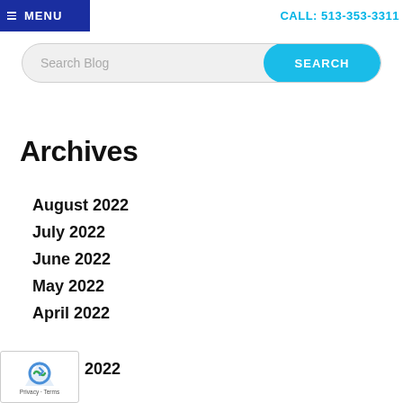MENU
CALL: 513-353-3311
[Figure (screenshot): Search bar with placeholder text 'Search Blog' and a cyan SEARCH button]
Archives
August 2022
July 2022
June 2022
May 2022
April 2022
March 2022